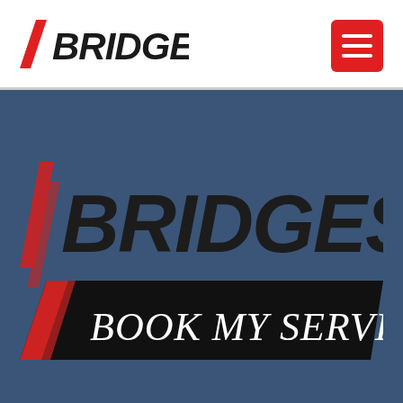Bridgestone — navigation header with logo and menu button
[Figure (logo): Bridgestone logo (black and red) in header]
[Figure (logo): Bridgestone Book My Service logo on dark blue background]